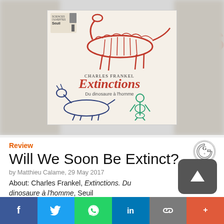[Figure (photo): Book cover of 'Extinctions. Du dinosaure à l'homme' by Charles Frankel, published by Seuil. The cover shows a pink/red dinosaur skeleton on top, a blue quadruped skeleton at bottom left, and a green human skeleton at bottom right, on a cream background. The title 'Extinctions' is in large red letters. Surrounding the main cover are blurred partial views of the same image.]
Review
Will We Soon Be Extinct?
by Matthieu Calame, 29 May 2017
About: Charles Frankel, Extinctions. Du dinosaure à l'homme, Seuil